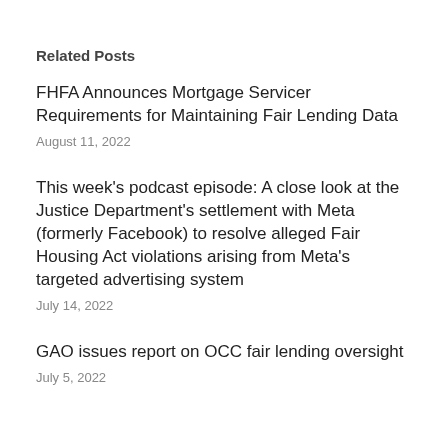Related Posts
FHFA Announces Mortgage Servicer Requirements for Maintaining Fair Lending Data
August 11, 2022
This week's podcast episode: A close look at the Justice Department's settlement with Meta (formerly Facebook) to resolve alleged Fair Housing Act violations arising from Meta's targeted advertising system
July 14, 2022
GAO issues report on OCC fair lending oversight
July 5, 2022